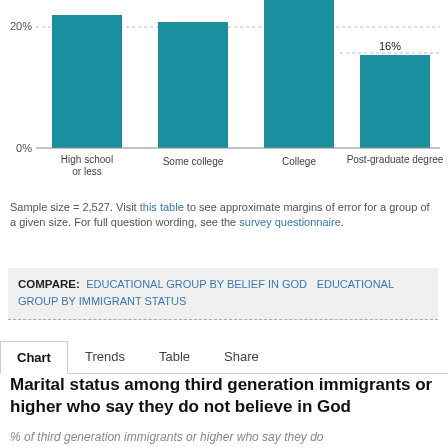[Figure (bar-chart): Educational group bar chart (partial)]
Sample size = 2,527. Visit this table to see approximate margins of error for a group of a given size. For full question wording, see the survey questionnaire.
COMPARE: EDUCATIONAL GROUP BY BELIEF IN GOD  EDUCATIONAL GROUP BY IMMIGRANT STATUS
Chart  Trends  Table  Share
Marital status among third generation immigrants or higher who say they do not believe in God
% of third generation immigrants or higher who say they do